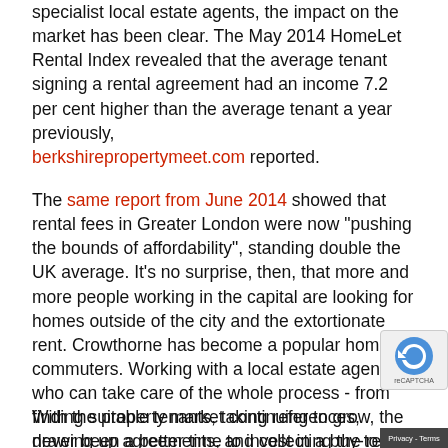specialist local estate agents, the impact on the market has been clear. The May 2014 HomeLet Rental Index revealed that the average tenant signing a rental agreement had an income 7.2 per cent higher than the average tenant a year previously, berkshirepropertymeet.com reported.
The same report from June 2014 showed that rental fees in Greater London were now "pushing the bounds of affordability", standing double the UK average. It's no surprise, then, that more and more people working in the capital are looking for homes outside of the city and the extortionate rent. Crowthorne has become a popular home for commuters. Working with a local estate agent who can take care of the whole process - from finding suitable tenants, taking references, drawing up agreements, and collecting the rent for you - means you can focus your attention elsewhere.
With the property market continuing to grow, the never been a better time to invest in a buy-to-let...